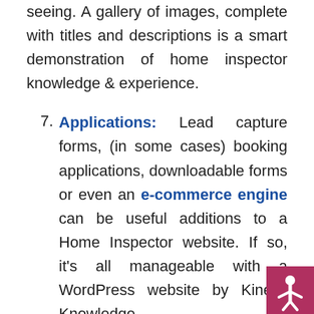seeing. A gallery of images, complete with titles and descriptions is a smart demonstration of home inspector knowledge & experience.
7. Applications: Lead capture forms, (in some cases) booking applications, downloadable forms or even an e-commerce engine can be useful additions to a Home Inspector website. If so, it's all manageable with a WordPress website by Kinetic Knowledge.
8. Host And Updates Management: Eas...